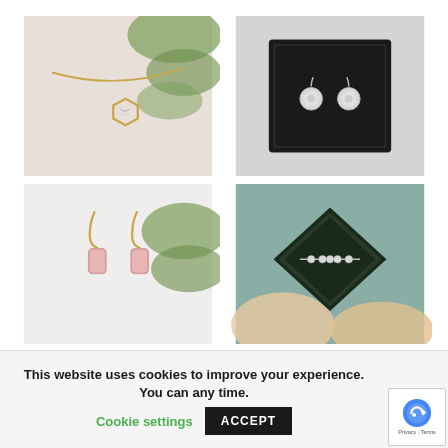[Figure (photo): Gold hexagon pendant necklace with marble stone against green leaves background]
[Figure (photo): Silver crystal drop earrings in a black jewelry box on light background]
[Figure (photo): Gold hook earrings with pink rose quartz stone drops, with green leaves in background]
[Figure (photo): Hands holding black diamond-shaped jewelry box containing silver pearl bracelet on teal fabric]
This website uses cookies to improve your experience. You can any time.
Cookie settings
ACCEPT
[Figure (logo): Google reCAPTCHA badge with Privacy and Terms links]